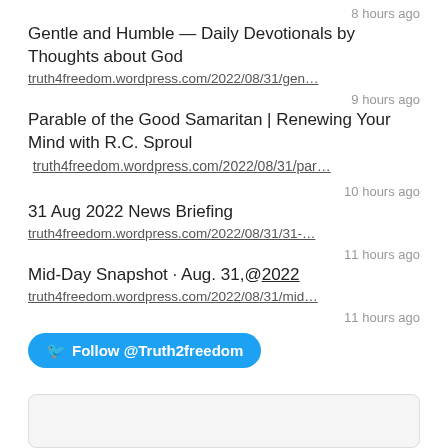8 hours ago
Gentle and Humble — Daily Devotionals by Thoughts about God
truth4freedom.wordpress.com/2022/08/31/gen…
9 hours ago
Parable of the Good Samaritan | Renewing Your Mind with R.C. Sproul  truth4freedom.wordpress.com/2022/08/31/par…
10 hours ago
31 Aug 2022 News Briefing
truth4freedom.wordpress.com/2022/08/31/31-…
11 hours ago
Mid-Day Snapshot · Aug. 31,@2022
truth4freedom.wordpress.com/2022/08/31/mid…
11 hours ago
Follow @Truth2freedom
FOLLOW ME ON TWITTER